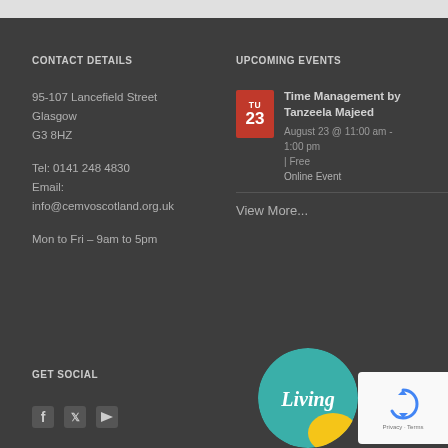CONTACT DETAILS
95-107 Lancefield Street
Glasgow
G3 8HZ
Tel: 0141 248 4830
Email:
info@cemvoscotland.org.uk
Mon to Fri – 9am to 5pm
UPCOMING EVENTS
Time Management by Tanzeela Majeed
August 23 @ 11:00 am - 1:00 pm
| Free
Online Event
View More...
GET SOCIAL
[Figure (logo): Living logo - circular badge with 'Living' text in white on teal/green background]
[Figure (logo): reCAPTCHA widget showing the recycling arrows logo with Privacy - Terms text below]